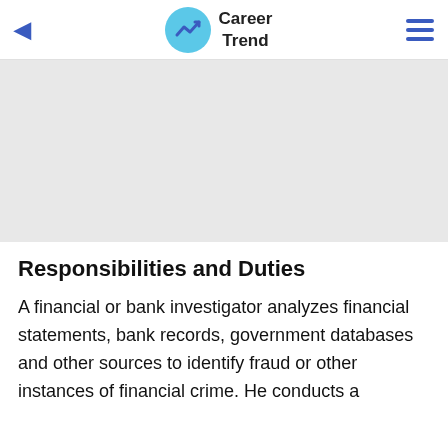Career Trend
[Figure (other): Advertisement banner placeholder, light gray background]
Responsibilities and Duties
A financial or bank investigator analyzes financial statements, bank records, government databases and other sources to identify fraud or other instances of financial crime. He conducts a